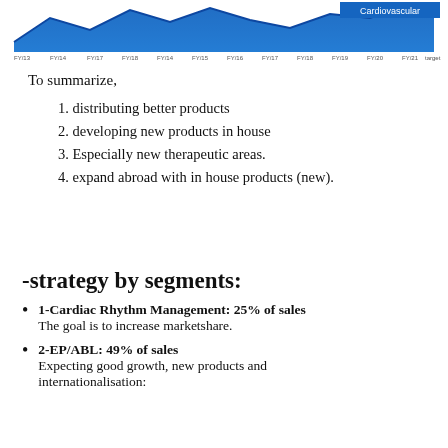[Figure (area-chart): Area chart showing cardiovascular data trend over multiple time periods, with blue filled area and a label 'Cardiovascular' in top right corner.]
To summarize,
1. distributing better products
2. developing new products in house
3. Especially new therapeutic areas.
4. expand abroad with in house products (new).
-strategy by segments:
1-Cardiac Rhythm Management: 25% of sales
The goal is to increase marketshare.
2-EP/ABL: 49% of sales
Expecting good growth, new products and internationalisation: